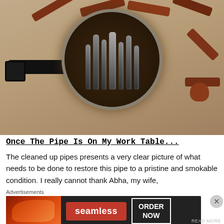[Figure (photo): Top-down view of several smoking pipes (mostly brown/mahogany colored, one black) arranged around a glass jar or bowl filled with dark liquid/tobacco and metal cleaning tools/pipe cleaners standing upright inside it. The pipes are arranged radially around the central bowl on a light wood-grain surface.]
Once The Pipe Is On My Work Table...
The cleaned up pipes presents a very clear picture of what needs to be done to restore this pipe to a pristine and smokable condition. I really cannot thank Abha, my wife,
Advertisements
[Figure (infographic): Seamless food delivery advertisement banner. Left side shows pizza image, center shows 'seamless' logo in red box, right side shows 'ORDER NOW' in white bordered box on dark background.]